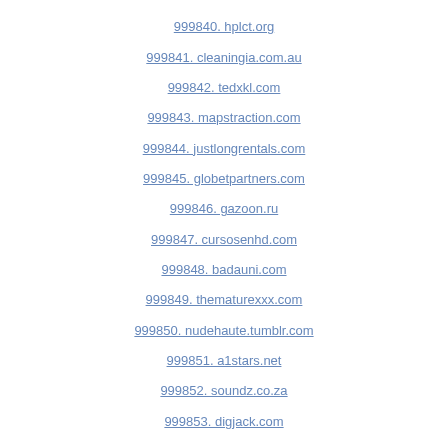999840. hplct.org
999841. cleaningia.com.au
999842. tedxkl.com
999843. mapstraction.com
999844. justlongrentals.com
999845. globetpartners.com
999846. gazoon.ru
999847. cursosenhd.com
999848. badauni.com
999849. thematurexxx.com
999850. nudehaute.tumblr.com
999851. a1stars.net
999852. soundz.co.za
999853. digjack.com